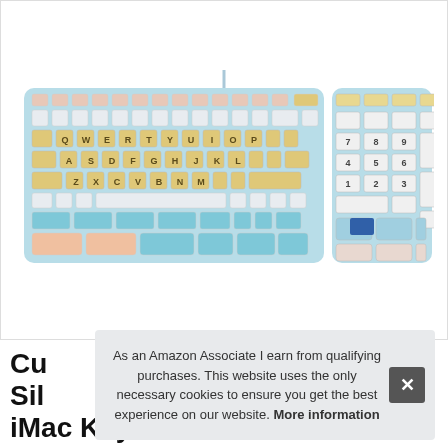[Figure (photo): A decorative keyboard (iMac style with numeric keypad) featuring colorful cartoon/illustrated keycaps in blue, pink, yellow, and teal tones with QWERTY layout visible. Cable extends upward.]
Cu Sil iMac Keyboard with Numeric Keypad
As an Amazon Associate I earn from qualifying purchases. This website uses the only necessary cookies to ensure you get the best experience on our website. More information